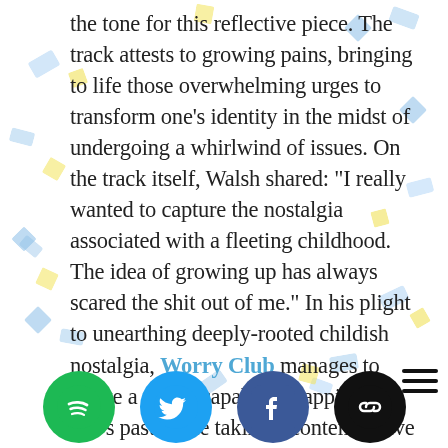the tone for this reflective piece. The track attests to growing pains, bringing to life those overwhelming urges to transform one's identity in the midst of undergoing a whirlwind of issues. On the track itself, Walsh shared: “I really wanted to capture the nostalgia associated with a fleeting childhood. The idea of growing up has always scared the shit out of me.” In his plight to unearthing deeply-rooted childish nostalgia, Worry Club manages to create a single capable of tapping into one’s past while taking a contemplative eye to the current reality. — Bianca Brown on July 8, 2021
[Figure (other): Social media icon buttons row: Spotify (green circle), Twitter (blue circle), Facebook (dark blue circle), Link/chain (black circle), and a hamburger menu icon]